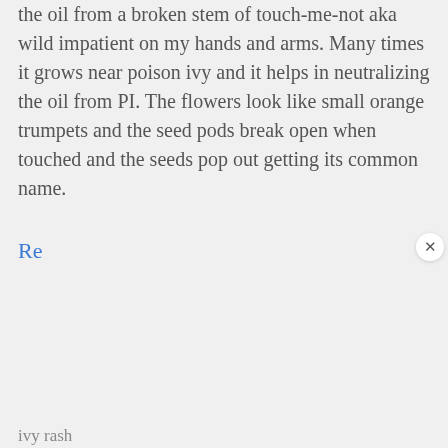the oil from a broken stem of touch-me-not aka wild impatient on my hands and arms. Many times it grows near poison ivy and it helps in neutralizing the oil from PI. The flowers look like small orange trumpets and the seed pods break open when touched and the seeds pop out getting its common name.
[Figure (screenshot): A popup overlay with a waving hand emoji saying 'Hey there, 👋' and offering '10 FREE Gardening Gifts?' with a 'YES, PLEASE!' orange button. A circular avatar of a man is visible at the bottom left.]
ivy rash